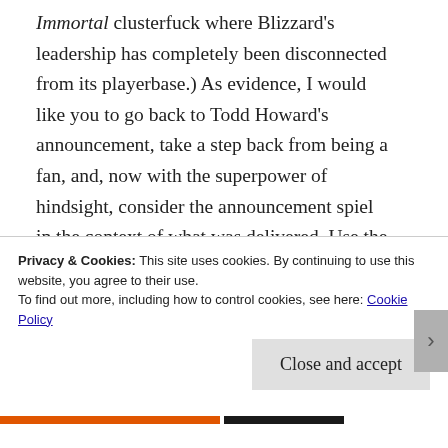Immortal clusterfuck where Blizzard's leadership has completely been disconnected from its playerbase.) As evidence, I would like you to go back to Todd Howard's announcement, take a step back from being a fan, and, now with the superpower of hindsight, consider the announcement spiel in the context of what was delivered. Use the brain in your noggin to consider how much time was spent in the announcement talking about the tech behind the game instead of the story in the game, which, as we know, is what drives people to play Fallout games. Why
Privacy & Cookies: This site uses cookies. By continuing to use this website, you agree to their use.
To find out more, including how to control cookies, see here: Cookie Policy